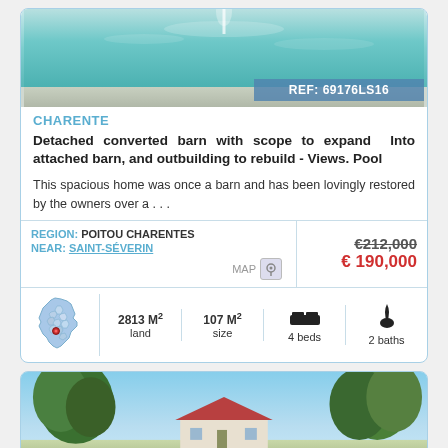[Figure (photo): Swimming pool photo with REF: 69176LS16 overlay bar]
CHARENTE
Detached converted barn with scope to expand Into attached barn, and outbuilding to rebuild - Views. Pool
This spacious home was once a barn and has been lovingly restored by the owners over a . . .
| REGION: POITOU CHARENTES | €212,000 |
| NEAR: SAINT-SÉVERIN | € 190,000 |
| MAP |  |
| [France map icon] | 2813 M² land | 107 M² size | 4 beds | 2 baths |
[Figure (photo): Exterior photo of French country house with trees and blue sky]